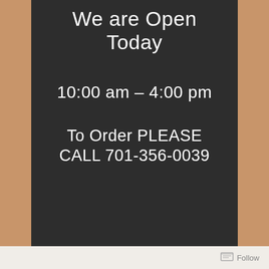We are Open Today
10:00 am – 4:00 pm
To Order PLEASE CALL 701-356-0039
Follow